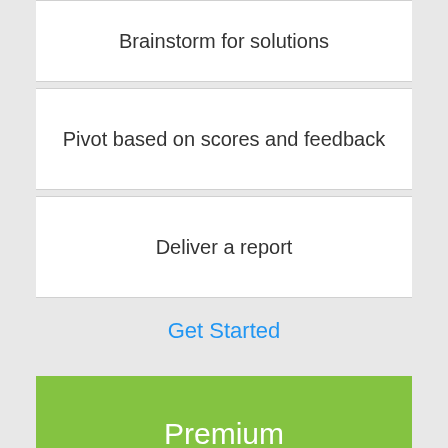Brainstorm for solutions
Pivot based on scores and feedback
Deliver a report
Get Started
Premium
$10,000 (160 hours)